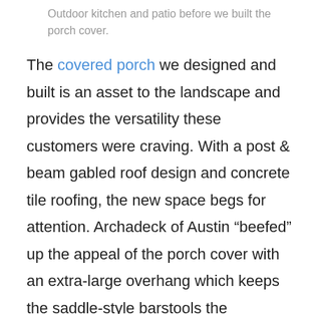Outdoor kitchen and patio before we built the porch cover.
The covered porch we designed and built is an asset to the landscape and provides the versatility these customers were craving. With a post & beam gabled roof design and concrete tile roofing, the new space begs for attention. Archadeck of Austin “beefed” up the appeal of the porch cover with an extra-large overhang which keeps the saddle-style barstools the homeowner’s placed around the car area out of the elements in case a rain shower pops up. No stone was left unturned regarding inclusion of all the luxurious extras that make the space inviting and cozy day or night. Sconce lighting, can-style lighting and a ceiling fan allow for comfort even on those hot Texas afternoons or in the evening.  The entire structure was meticulously matched to ensure it mimics the dolor tones